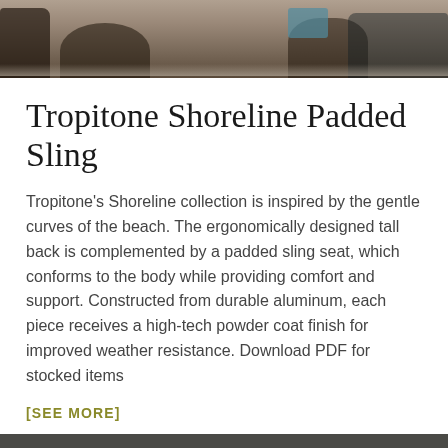[Figure (photo): Outdoor patio furniture photo showing chairs with dark metal frames on a light stone or tile surface, partial view cropped at top]
Tropitone Shoreline Padded Sling
Tropitone's Shoreline collection is inspired by the gentle curves of the beach. The ergonomically designed tall back is complemented by a padded sling seat, which conforms to the body while providing comfort and support. Constructed from durable aluminum, each piece receives a high-tech powder coat finish for improved weather resistance. Download PDF for stocked items
[SEE MORE]